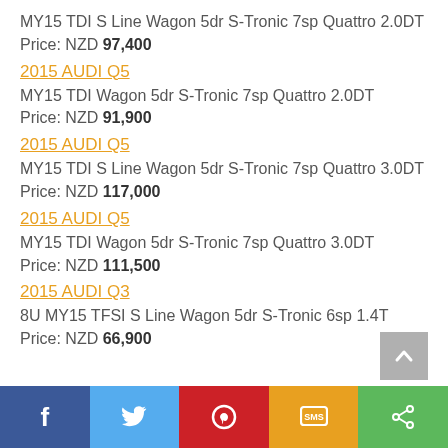MY15 TDI S Line Wagon 5dr S-Tronic 7sp Quattro 2.0DT
Price: NZD 97,400
2015 AUDI Q5
MY15 TDI Wagon 5dr S-Tronic 7sp Quattro 2.0DT
Price: NZD 91,900
2015 AUDI Q5
MY15 TDI S Line Wagon 5dr S-Tronic 7sp Quattro 3.0DT
Price: NZD 117,000
2015 AUDI Q5
MY15 TDI Wagon 5dr S-Tronic 7sp Quattro 3.0DT
Price: NZD 111,500
2015 AUDI Q3
8U MY15 TFSI S Line Wagon 5dr S-Tronic 6sp 1.4T
Price: NZD 66,900